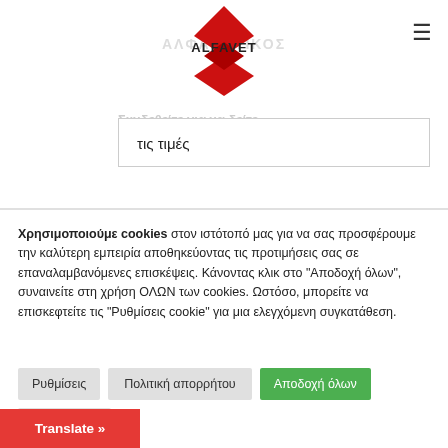[Figure (logo): ALFAVET red diamond logo with text ALFAVET]
τις τιμές
Χρησιμοποιούμε cookies στον ιστότοπό μας για να σας προσφέρουμε την καλύτερη εμπειρία αποθηκεύοντας τις προτιμήσεις σας σε επαναλαμβανόμενες επισκέψεις. Κάνοντας κλικ στο "Αποδοχή όλων", συναινείτε στη χρήση ΟΛΩΝ των cookies. Ωστόσο, μπορείτε να επισκεφτείτε τις "Ρυθμίσεις cookie" για μια ελεγχόμενη συγκατάθεση.
Ρυθμίσεις
Πολιτική απορρήτου
Αποδοχή όλων
Απόρριψη
Translate »